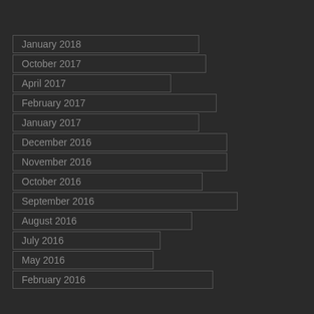January 2018
October 2017
April 2017
February 2017
January 2017
December 2016
November 2016
October 2016
September 2016
August 2016
July 2016
May 2016
February 2016